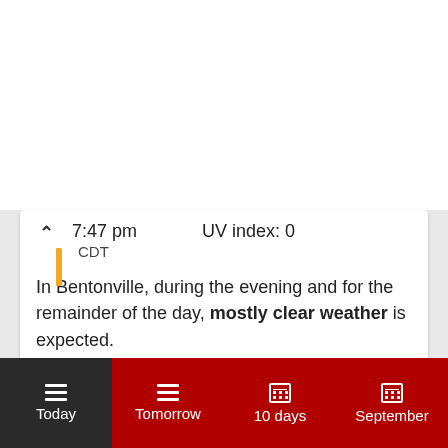7:47 pm CDT    UV index: 0
In Bentonville, during the evening and for the remainder of the day, mostly clear weather is expected. The lowest predicted temperature is an enjoyable 64.4°F (18°C). Sunrise was at 6:46 am and sunset will be at 7:47 pm; the daylight will last for 13h and 1min.
Today  Tomorrow  10 days  September